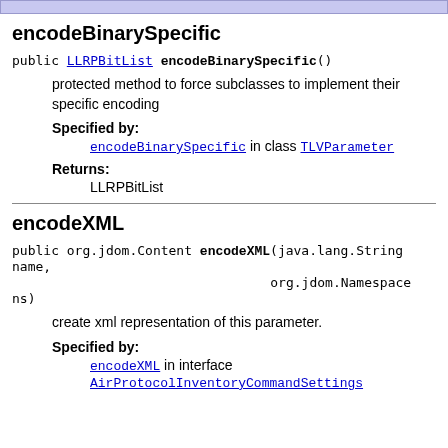encodeBinarySpecific
public LLRPBitList encodeBinarySpecific()
protected method to force subclasses to implement their specific encoding
Specified by:
encodeBinarySpecific in class TLVParameter
Returns:
LLRPBitList
encodeXML
public org.jdom.Content encodeXML(java.lang.String name, org.jdom.Namespace ns)
create xml representation of this parameter.
Specified by:
encodeXML in interface AirProtocolInventoryCommandSettings